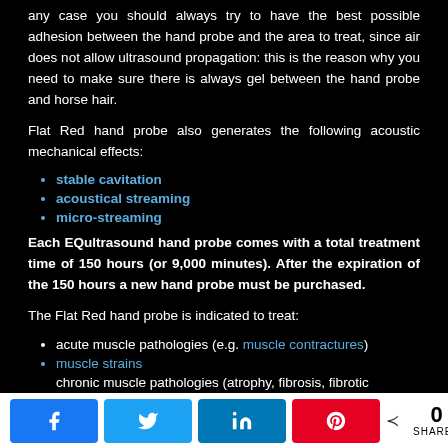any case you should always try to have the best possible adhesion between the hand probe and the area to treat, since air does not allow ultrasound propagation: this is the reason why you need to make sure there is always gel between the hand probe and horse hair.
Flat Red hand probe also generates the following acoustic mechanical effects:
stable cavitation
acoustical streaming
micro-streaming
Each EQultrasound hand probe comes with a total treatment time of 150 hours (or 9,000 minutes). After the expiration of the 150 hours a new hand probe must be purchased.
The Flat Red hand probe is indicated to treat:
acute muscle pathologies (e.g. muscle contractures)
muscle strains
chronic muscle pathologies (atrophy, fibrosis, fibrotic myopathy)
Share buttons: Facebook, Twitter, LinkedIn, Pinterest | 0 SHARES